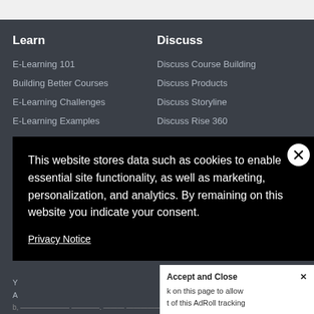Learn
E-Learning 101
Building Better Courses
E-Learning Challenges
E-Learning Examples
Learn Articulate 360
Discuss
Discuss Course Building
Discuss Products
Discuss Storyline
Discuss Rise 360
More Discussions
This website stores data such as cookies to enable essential site functionality, as well as marketing, personalization, and analytics. By remaining on this website you indicate your consent.
Privacy Notice
Accept and Close ✕
k on this page to allow
t of this AdRoll tracking